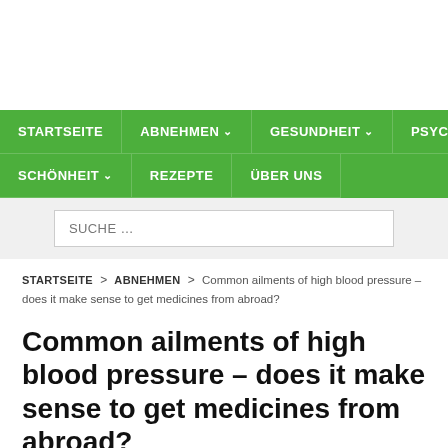STARTSEITE | ABNEHMEN | GESUNDHEIT | PSYCHE | SCHÖNHEIT | REZEPTE | ÜBER UNS
SUCHE …
STARTSEITE > ABNEHMEN > Common ailments of high blood pressure – does it make sense to get medicines from abroad?
Common ailments of high blood pressure – does it make sense to get medicines from abroad?